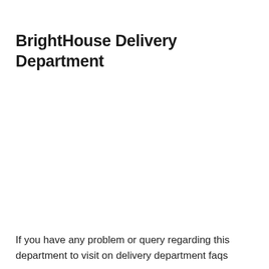BrightHouse Delivery Department
If you have any problem or query regarding this department to visit on delivery department faqs